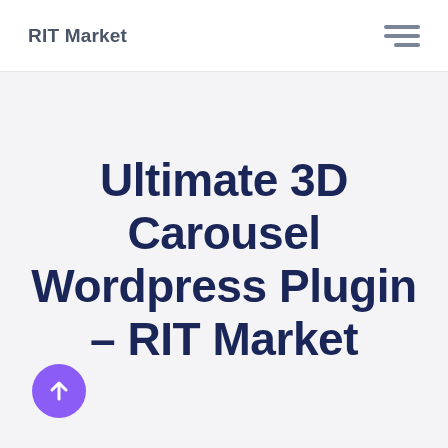RIT Market
Ultimate 3D Carousel Wordpress Plugin – RIT Market